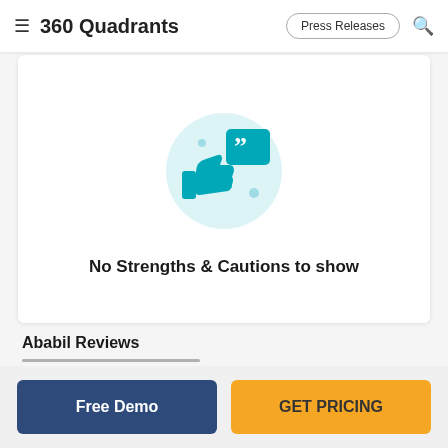360 Quadrants
[Figure (illustration): Illustration of a thumbs-up and speech bubble/quote icon in teal color on a light blue circular background, representing strengths and cautions feedback]
No Strengths & Cautions to show
Ababil Reviews
Free Demo
GET PRICING